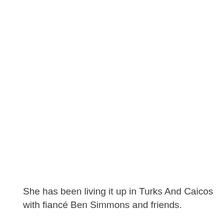She has been living it up in Turks And Caicos with fiancé Ben Simmons and friends.